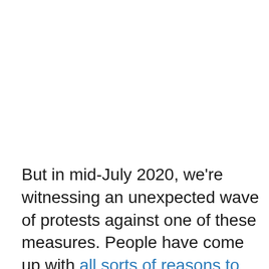But in mid-July 2020, we're witnessing an unexpected wave of protests against one of these measures. People have come up with all sorts of reasons to avoid face masks. Some wrongly claim that face masks can reduce oxygenation. Others see them as a political